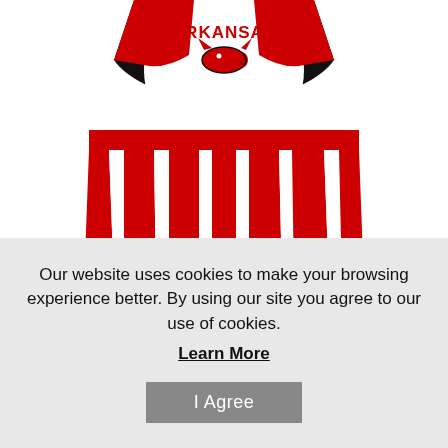[Figure (photo): Arkansas Razorbacks cheerleader dog outfit/costume — red and white pleated skirt with ARKANSAS text and Razorback hog logo on the white bib/top portion. Red pleated skirt with white stripe accents visible at bottom.]
Arkansas Cheerleader Dog
Our website uses cookies to make your browsing experience better. By using our site you agree to our use of cookies.
Learn More
I Agree